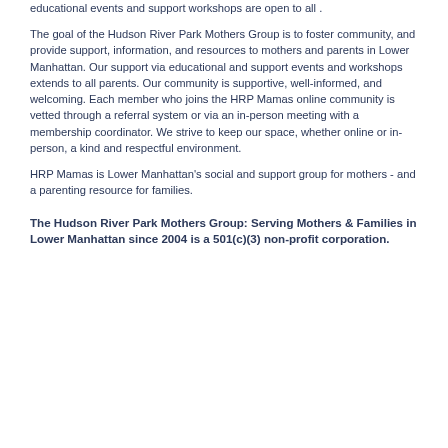educational events and support workshops are open to all .
The goal of the Hudson River Park Mothers Group is to foster community, and provide support, information, and resources to mothers and parents in Lower Manhattan. Our support via educational and support events and workshops extends to all parents. Our community is supportive, well-informed, and welcoming. Each member who joins the HRP Mamas online community is vetted through a referral system or via an in-person meeting with a membership coordinator. We strive to keep our space, whether online or in-person, a kind and respectful environment.
HRP Mamas is Lower Manhattan's social and support group for mothers - and a parenting resource for families.
The Hudson River Park Mothers Group: Serving Mothers & Families in Lower Manhattan since 2004 is a 501(c)(3) non-profit corporation.